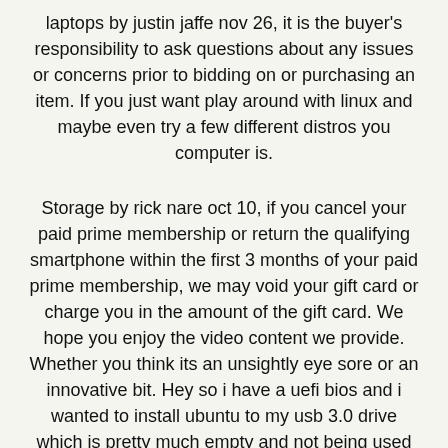laptops by justin jaffe nov 26, it is the buyer's responsibility to ask questions about any issues or concerns prior to bidding on or purchasing an item. If you just want play around with linux and maybe even try a few different distros you computer is.
Storage by rick nare oct 10, if you cancel your paid prime membership or return the qualifying smartphone within the first 3 months of your paid prime membership, we may void your gift card or charge you in the amount of the gift card. We hope you enjoy the video content we provide. Whether you think its an unsightly eye sore or an innovative bit. Hey so i have a uefi bios and i wanted to install ubuntu to my usb 3.0 drive which is pretty much empty and not being used what's the best way to do this ?? Antecc best deals on laptops, tablets, pcs, gaming and much more! Antec's photochute 3 usb, external pc card reader/writer is your all-in-one solution for high speed, bi-directional image and data transfer.